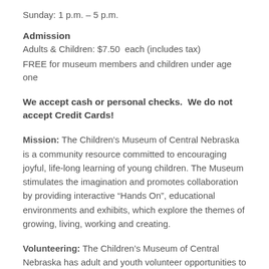Sunday: 1 p.m. – 5 p.m.
Admission
Adults & Children: $7.50  each (includes tax)
FREE for museum members and children under age one
We accept cash or personal checks.  We do not accept Credit Cards!
Mission: The Children's Museum of Central Nebraska is a community resource committed to encouraging joyful, life-long learning of young children. The Museum stimulates the imagination and promotes collaboration by providing interactive “Hands On”, educational environments and exhibits, which explore the themes of growing, living, working and creating.
Volunteering: The Children’s Museum of Central Nebraska has adult and youth volunteer opportunities to